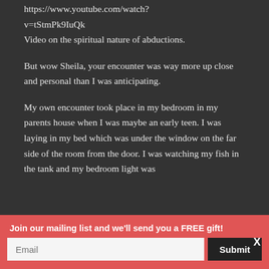https://www.youtube.com/watch?v=tStmPk9IuQk
Video on the spiritual nature of abductions.
But wow Sheila, your encounter was way more up close and personal than I was anticipating.
My own encounter took place in my bedroom in my parents house when I was maybe an early teen. I was laying in my bed which was under the window on the far side of the room from the door. I was watching my fish in the tank and my bedroom light was
Join our mailing list and we'll send you a FREE gift!
Email
Submit
X